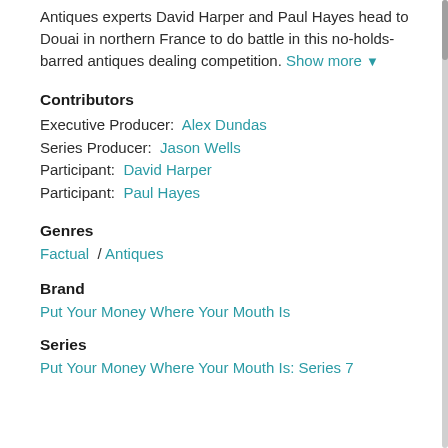Antiques experts David Harper and Paul Hayes head to Douai in northern France to do battle in this no-holds-barred antiques dealing competition. Show more ▼
Contributors
Executive Producer:  Alex Dundas
Series Producer:  Jason Wells
Participant:  David Harper
Participant:  Paul Hayes
Genres
Factual / Antiques
Brand
Put Your Money Where Your Mouth Is
Series
Put Your Money Where Your Mouth Is: Series 7